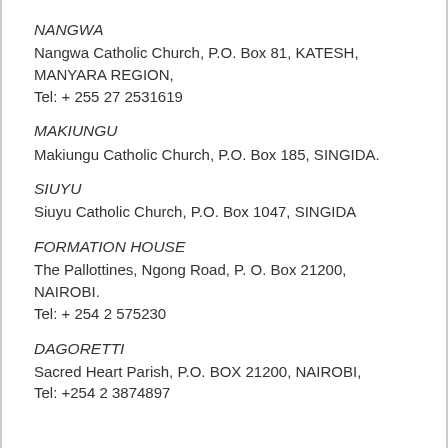NANGWA
Nangwa Catholic Church, P.O. Box 81, KATESH, MANYARA REGION,
Tel: + 255 27 2531619
MAKIUNGU
Makiungu Catholic Church, P.O. Box 185, SINGIDA.
SIUYU
Siuyu Catholic Church, P.O. Box 1047, SINGIDA
FORMATION HOUSE
The Pallottines, Ngong Road, P. O. Box 21200, NAIROBI.
Tel: + 254 2 575230
DAGORETTI
Sacred Heart Parish, P.O. BOX 21200, NAIROBI,
Tel: +254 2 3874897